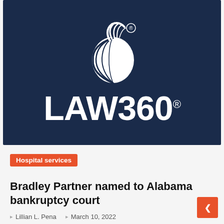[Figure (logo): Law360 logo on dark navy background with peach/globe icon above bold white LAW360 text with registered trademark symbol]
Hospital services
Bradley Partner named to Alabama bankruptcy court
Lillian L. Pena   March 10, 2022